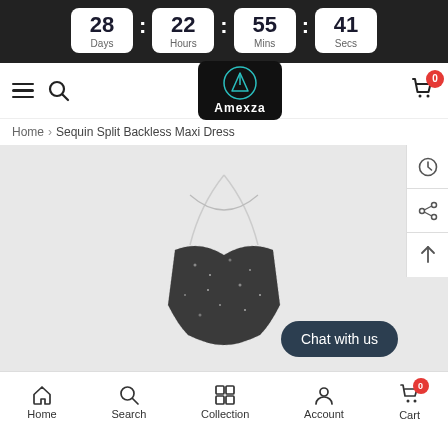[Figure (screenshot): Countdown timer showing 28 Days, 22 Hours, 55 Mins, 41 Secs on dark background]
[Figure (logo): Amexza logo: teal A inside circle on black background with Amexza text]
Home > Sequin Split Backless Maxi Dress
[Figure (photo): Product photo of a sequin split backless maxi dress top portion on grey background]
Chat with us
Home  Search  Collection  Account  Cart